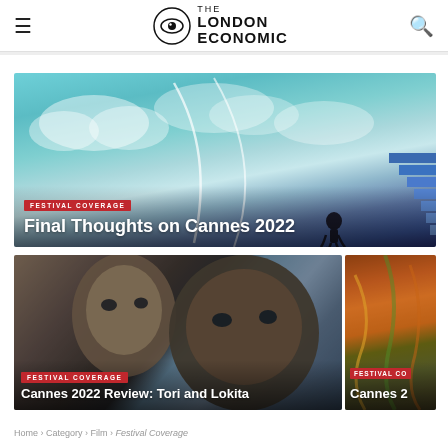THE LONDON ECONOMIC
[Figure (photo): Hero image for article 'Final Thoughts on Cannes 2022' showing a teal sky with clouds and a silhouetted figure, with blue steps visible at right. Overlaid festival coverage tag and bold white title.]
Final Thoughts on Cannes 2022
[Figure (photo): Bottom-left card image showing two African children looking upward, portrait style. Tagged 'FESTIVAL COVERAGE' with title 'Cannes 2022 Review: Tori and Lokita'.]
Cannes 2022 Review: Tori and Lokita
[Figure (photo): Bottom-right partially visible card with colorful abstract/nature image. Tagged 'FESTIVAL CO' (truncated) with partial title 'Cannes 2'.]
Cannes 2
Home › Category › Film › Festival Coverage